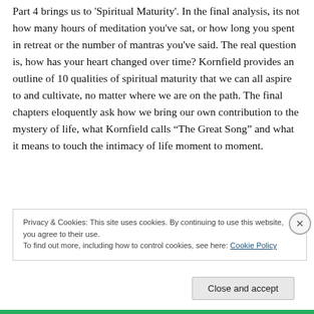Part 4 brings us to 'Spiritual Maturity'. In the final analysis, its not how many hours of meditation you've sat, or how long you spent in retreat or the number of mantras you've said. The real question is, how has your heart changed over time? Kornfield provides an outline of 10 qualities of spiritual maturity that we can all aspire to and cultivate, no matter where we are on the path. The final chapters eloquently ask how we bring our own contribution to the mystery of life, what Kornfield calls “The Great Song” and what it means to touch the intimacy of life moment to moment.
Privacy & Cookies: This site uses cookies. By continuing to use this website, you agree to their use.
To find out more, including how to control cookies, see here: Cookie Policy